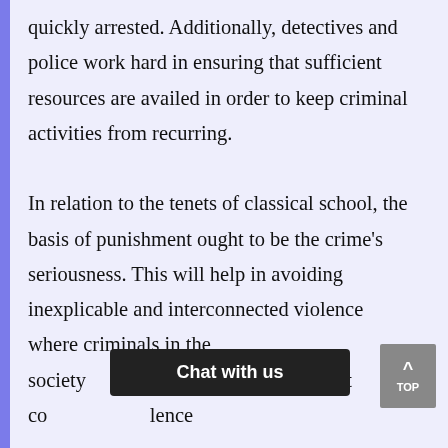quickly arrested. Additionally, detectives and police work hard in ensuring that sufficient resources are availed in order to keep criminal activities from recurring.

In relation to the tenets of classical school, the basis of punishment ought to be the crime's seriousness. This will help in avoiding inexplicable and interconnected violence where criminals in the society... hington post co... lence